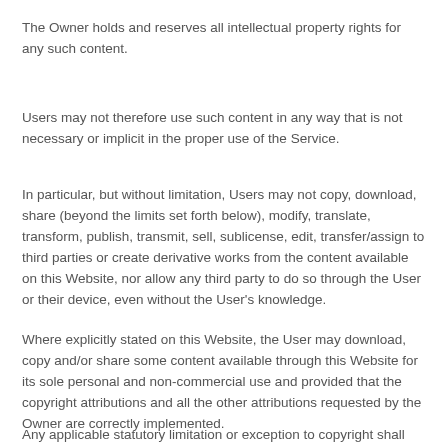The Owner holds and reserves all intellectual property rights for any such content.
Users may not therefore use such content in any way that is not necessary or implicit in the proper use of the Service.
In particular, but without limitation, Users may not copy, download, share (beyond the limits set forth below), modify, translate, transform, publish, transmit, sell, sublicense, edit, transfer/assign to third parties or create derivative works from the content available on this Website, nor allow any third party to do so through the User or their device, even without the User's knowledge.
Where explicitly stated on this Website, the User may download, copy and/or share some content available through this Website for its sole personal and non-commercial use and provided that the copyright attributions and all the other attributions requested by the Owner are correctly implemented.
Any applicable statutory limitation or exception to copyright shall stay unaffected.